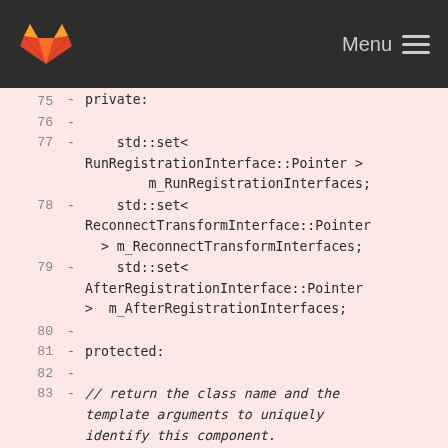GitLab Menu
[Figure (screenshot): Code diff view showing C++ class private and protected member declarations, lines 75-84, with removed lines marked with '-' on a pink background. Lines include: private:, std::set<RunRegistrationInterface::Pointer> m_RunRegistrationInterfaces;, std::set<ReconnectTransformInterface::Pointer> m_ReconnectTransformInterfaces;, std::set<AfterRegistrationInterface::Pointer> m_AfterRegistrationInterfaces;, protected:, // return the class name and the template arguments to uniquely identify this component., static inline const std::map< std::string, std::string > TemplateProperties()]